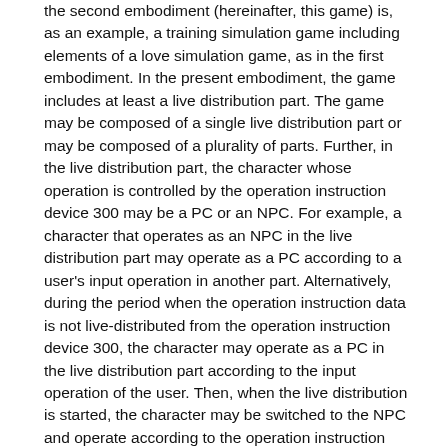the second embodiment (hereinafter, this game) is, as an example, a training simulation game including elements of a love simulation game, as in the first embodiment. In the present embodiment, the game includes at least a live distribution part. The game may be composed of a single live distribution part or may be composed of a plurality of parts. Further, in the live distribution part, the character whose operation is controlled by the operation instruction device 300 may be a PC or an NPC. For example, a character that operates as an NPC in the live distribution part may operate as a PC according to a user's input operation in another part. Alternatively, during the period when the operation instruction data is not live-distributed from the operation instruction device 300, the character may operate as a PC in the live distribution part according to the input operation of the user. Then, when the live distribution is started, the character may be switched to the NPC and operate according to the operation instruction data supplied from the operation instruction device 300.
<Outline of processing>
In the present embodiment, the user terminal 100 is configured to execute the following steps in order to